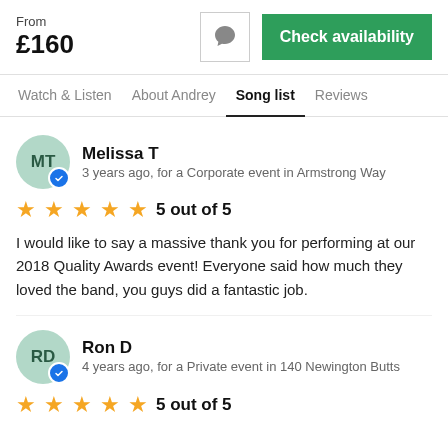From £160
Check availability
Watch & Listen  About Andrey  Song list  Reviews
Melissa T
3 years ago, for a Corporate event in Armstrong Way
5 out of 5
I would like to say a massive thank you for performing at our 2018 Quality Awards event! Everyone said how much they loved the band, you guys did a fantastic job.
Ron D
4 years ago, for a Private event in 140 Newington Butts
5 out of 5